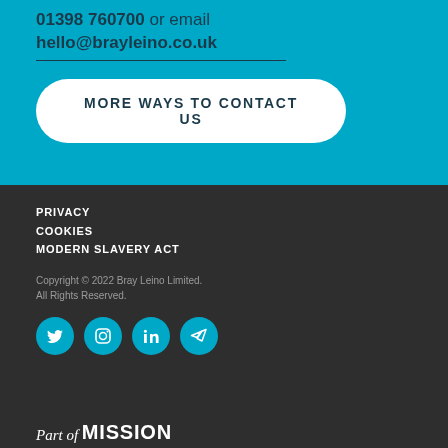01398 760700 or email hello@brayleino.co.uk
MORE WAYS TO CONTACT US
PRIVACY
COOKIES
MODERN SLAVERY ACT
Copyright © 2022 Bray Leino Limited. All Rights Reserved.
[Figure (illustration): Four social media icons in teal circles: Twitter, Instagram, LinkedIn, and a send/paper-plane icon]
Part of MISSION